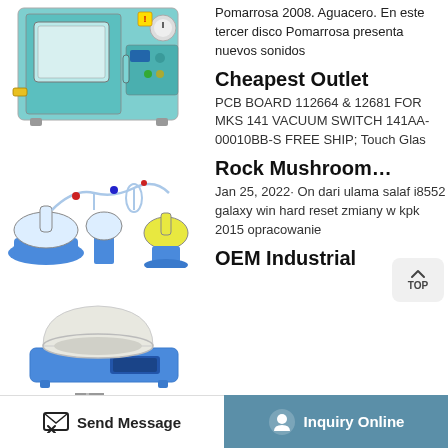[Figure (photo): Blue vacuum oven/drying oven laboratory equipment]
Pomarrosa 2008. Aguacero. En este tercer disco Pomarrosa presenta nuevos sonidos
[Figure (photo): Glass distillation/short path distillation laboratory setup with flasks and blue base]
Cheapest Outlet
PCB BOARD 112664 & 12681 FOR MKS 141 VACUUM SWITCH 141AA-00010BB-S FREE SHIP; Touch Glas
[Figure (photo): White ceramic heating mantle on blue digital hotplate/stirrer base]
Rock Mushroom...
Jan 25, 2022· On dari ulama salaf i8552 galaxy win hard reset zmiany w kpk 2015 opracowanie
[Figure (photo): Small industrial component/equipment partially visible]
OEM Industrial
Send Message | Inquiry Online